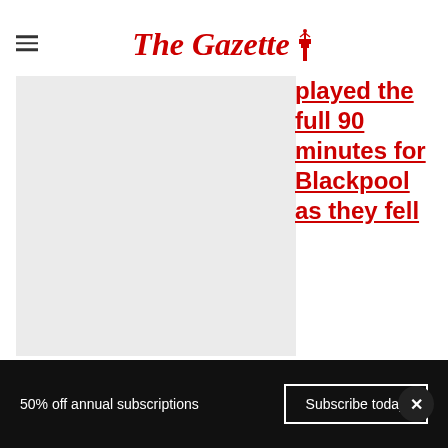The Gazette
[Figure (photo): Grey placeholder image for article photo]
played the full 90 minutes for Blackpool as they fell to a 4-1 defeat in their semi-final tie.
50% off annual subscriptions   Subscribe today